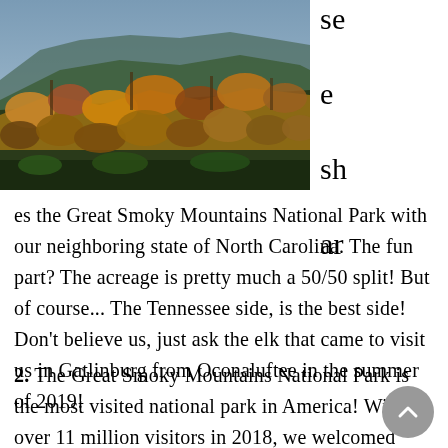[Figure (photo): Aerial/landscape photo of forested mountain slope with autumn foliage — Great Smoky Mountains National Park]
se e sh ar
es the Great Smoky Mountains National Park with our neighboring state of North Carolina. The fun part? The acreage is pretty much a 50/50 split! But of course... The Tennessee side, is the best side! Don't believe us, just ask the elk that came to visit us in Gatlinburg from Oconaluftee in the summer of 2019!
2. The Great Smoky Mountains National Park is the most visited national park in America! With over 11 million visitors in 2018, we welcomed over 5 million more happy faces than the 2nd